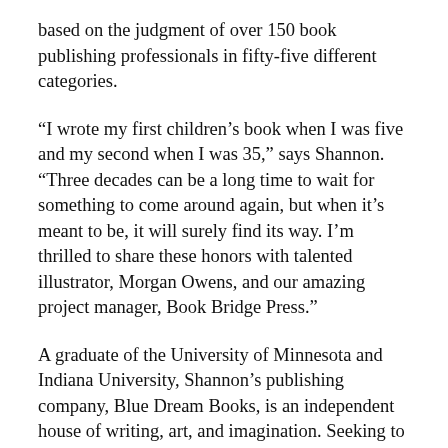based on the judgment of over 150 book publishing professionals in fifty-five different categories.
“I wrote my first children’s book when I was five and my second when I was 35,” says Shannon. “Three decades can be a long time to wait for something to come around again, but when it’s meant to be, it will surely find its way. I’m thrilled to share these honors with talented illustrator, Morgan Owens, and our amazing project manager, Book Bridge Press.”
A graduate of the University of Minnesota and Indiana University, Shannon’s publishing company, Blue Dream Books, is an independent house of writing, art, and imagination. Seeking to help multiply moments of joy and connectivity, Blue Dream Books carries messages of aliveness, gratitude, reflection, creativity, learning, play, and